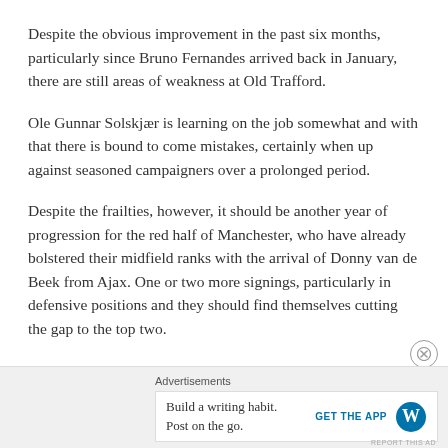Despite the obvious improvement in the past six months, particularly since Bruno Fernandes arrived back in January, there are still areas of weakness at Old Trafford.
Ole Gunnar Solskjær is learning on the job somewhat and with that there is bound to come mistakes, certainly when up against seasoned campaigners over a prolonged period.
Despite the frailties, however, it should be another year of progression for the red half of Manchester, who have already bolstered their midfield ranks with the arrival of Donny van de Beek from Ajax. One or two more signings, particularly in defensive positions and they should find themselves cutting the gap to the top two.
Advertisements — Build a writing habit. Post on the go. GET THE APP